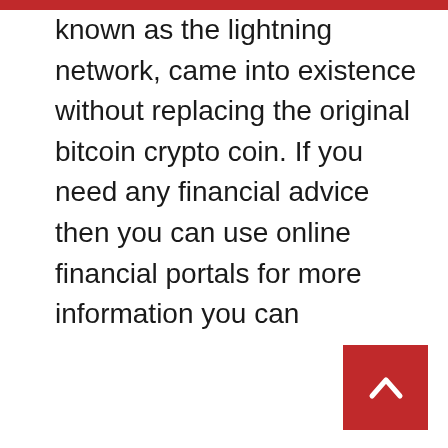known as the lightning network, came into existence without replacing the original bitcoin crypto coin. If you need any financial advice then you can use online financial portals for more information you can
[Figure (other): Red back-to-top button with upward chevron arrow in bottom right corner]